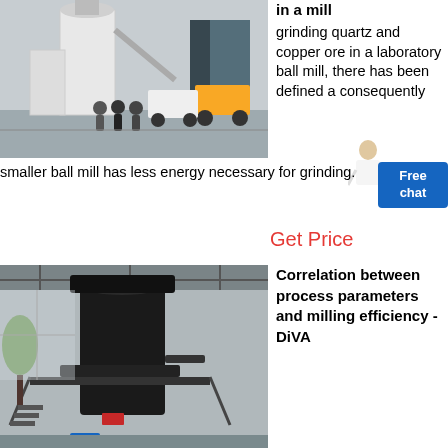[Figure (photo): Industrial ball mill equipment in a factory hall with three people standing in front of large white machinery]
in a mill grinding quartz and copper ore in a laboratory ball mill, there has been defined a consequently
smaller ball mill has less energy necessary for grinding.
Get Price
[Figure (photo): Large black industrial vertical mill machine inside a high-ceiling industrial building]
Correlation between process parameters and milling efficiency - DiVA